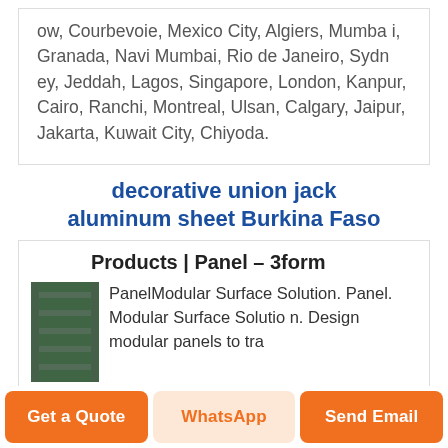ow, Courbevoie, Mexico City, Algiers, Mumbai, Granada, Navi Mumbai, Rio de Janeiro, Sydney, Jeddah, Lagos, Singapore, London, Kanpur, Cairo, Ranchi, Montreal, Ulsan, Calgary, Jaipur, Jakarta, Kuwait City, Chiyoda.
decorative union jack aluminum sheet Burkina Faso
Products | Panel - 3form
[Figure (photo): Thumbnail photo of what appears to be a warehouse or industrial interior with green-tinted shelving/racks.]
PanelModular Surface Solution. Panel. Modular Surface Solution. Design modular panels to tra
Get a Quote
WhatsApp
Send Email